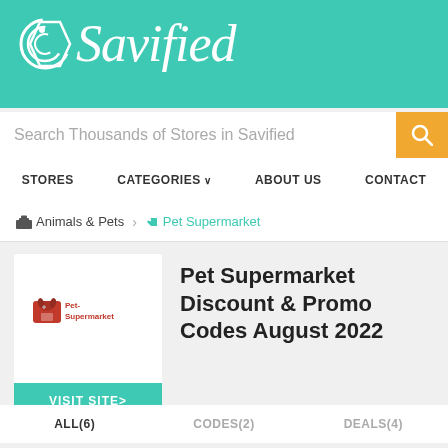Savified
Search Thousands of Stores in Savified
STORES  CATEGORIES  ABOUT US  CONTACT
Animals & Pets > Pet Supermarket
[Figure (logo): Pet-Supermarket logo with red dog icon and red text]
Pet Supermarket Discount & Promo Codes August 2022
VISIT SITE >
ALL(6)   CODES(2)   DEALS(4)